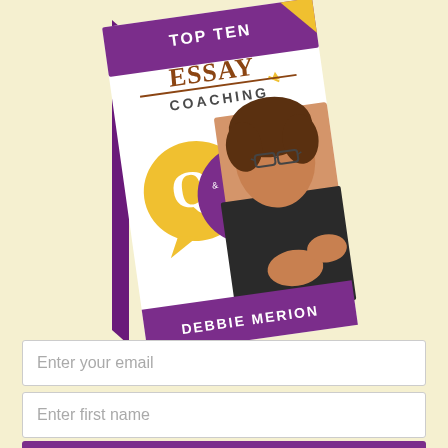[Figure (illustration): Book cover for 'Top Ten Essay Coaching Q&A' by Debbie Merion. Cover shows purple and white design with gold accents, Q&A speech bubble icons in gold and purple, and photo of Debbie Merion (a woman with glasses and curly hair in a black top). The book is shown at a slight angle as a 3D book.]
Enter your email
Enter first name
Yes! Send me the FREE eBook